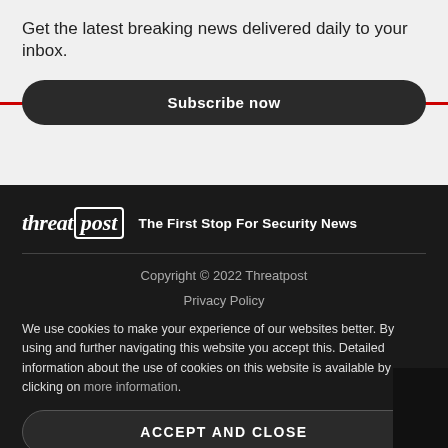Get the latest breaking news delivered daily to your inbox.
Subscribe now
[Figure (logo): Threatpost logo with tagline 'The First Stop For Security News']
Copyright © 2022 Threatpost
Privacy Policy
We use cookies to make your experience of our websites better. By using and further navigating this website you accept this. Detailed information about the use of cookies on this website is available by clicking on more information.
ACCEPT AND CLOSE